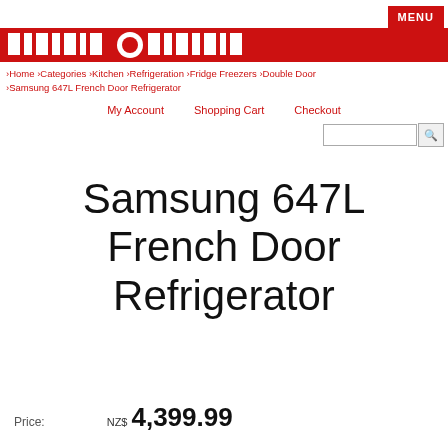MENU
[Figure (logo): Red banner logo bar with stylized text and circular emblem]
>Home >Categories >Kitchen >Refrigeration >Fridge Freezers >Double Door >Samsung 647L French Door Refrigerator
My Account   Shopping Cart   Checkout
Samsung 647L French Door Refrigerator
Price: NZ$ 4,399.99